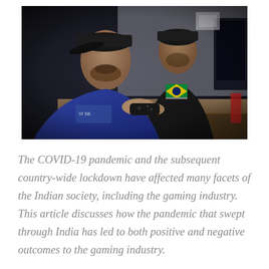[Figure (photo): Two young men of South Asian appearance sitting at a gaming station, one in a blue hoodie in the foreground holding a game controller, another behind him. A Brazilian flag is visible in the background on the desk. The setting appears to be a gaming café or event.]
The COVID-19 pandemic and the subsequent country-wide lockdown have affected many facets of the Indian society, including the gaming industry. This article discusses how the pandemic that swept through India has led to both positive and negative outcomes to the gaming industry.